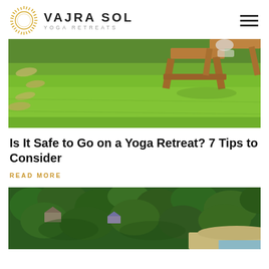VAJRA SOL YOGA RETREATS
[Figure (photo): Outdoor grassy area with wooden picnic benches, sunlit green lawn with stepping stones on the left side]
Is It Safe to Go on a Yoga Retreat? 7 Tips to Consider
READ MORE
[Figure (photo): Aerial view of dense forest canopy with small building rooftops visible and a beach/water edge at bottom right]